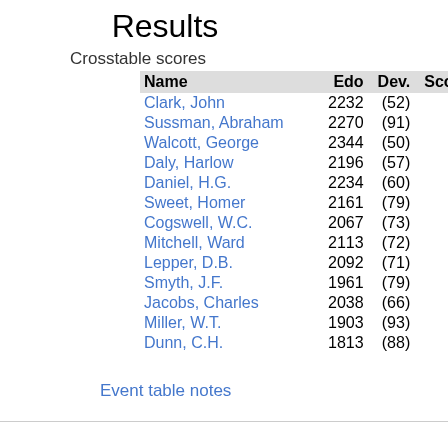Results
Crosstable scores
| Name | Edo | Dev. | Score / Games |
| --- | --- | --- | --- |
| Clark, John | 2232 | (52) | 10 / 12 |
| Sussman, Abraham | 2270 | (91) | 9 / 12 |
| Walcott, George | 2344 | (50) | 8.5 / 12 |
| Daly, Harlow | 2196 | (57) | 7.5 / 12 |
| Daniel, H.G. | 2234 | (60) | 7.5 / 12 |
| Sweet, Homer | 2161 | (79) | 7.5 / 12 |
| Cogswell, W.C. | 2067 | (73) | 6 / 12 |
| Mitchell, Ward | 2113 | (72) | 6 / 12 |
| Lepper, D.B. | 2092 | (71) | 5 / 12 |
| Smyth, J.F. | 1961 | (79) | 4 / 12 |
| Jacobs, Charles | 2038 | (66) | 3 / 12 |
| Miller, W.T. | 1903 | (93) | 3 / 12 |
| Dunn, C.H. | 1813 | (88) | 1 / 12 |
Event table notes